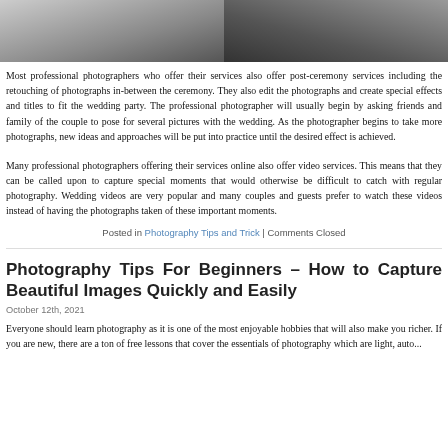[Figure (photo): Top portion of a wedding photo showing bride and groom outdoors with green foliage background]
Most professional photographers who offer their services also offer post-ceremony services including the retouching of photographs in-between the ceremony. They also edit the photographs and create special effects and titles to fit the wedding party. The professional photographer will usually begin by asking friends and family of the couple to pose for several pictures with the wedding. As the photographer begins to take more photographs, new ideas and approaches will be put into practice until the desired effect is achieved.
Many professional photographers offering their services online also offer video services. This means that they can be called upon to capture special moments that would otherwise be difficult to catch with regular photography. Wedding videos are very popular and many couples and guests prefer to watch these videos instead of having the photographs taken of these important moments.
Posted in Photography Tips and Trick | Comments Closed
Photography Tips For Beginners – How to Capture Beautiful Images Quickly and Easily
October 12th, 2021
Everyone should learn photography as it is one of the most enjoyable hobbies that will also make you richer. If you are new, there are a ton of free lessons that cover the essentials of photography which are light, aut...